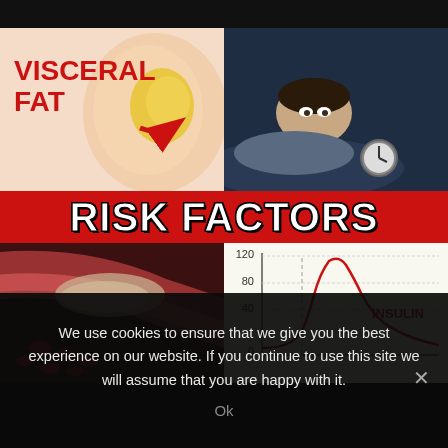[Figure (infographic): Infographic showing risk factors: visceral fat illustration (top-left), person lying awake at night with alarm clock (top-right), red banner with RISK FACTORS text in center, clogged artery illustration (bottom-left), insulin level line chart (bottom-right)]
We use cookies to ensure that we give you the best experience on our website. If you continue to use this site we will assume that you are happy with it.
Ok